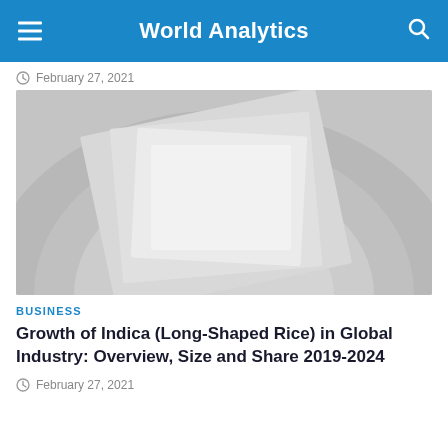World Analytics
February 27, 2021
[Figure (photo): Abstract geometric background with layered overlapping grey and white rectangles and circular shapes on a light grey surface]
BUSINESS
Growth of Indica (Long-Shaped Rice) in Global Industry: Overview, Size and Share 2019-2024
February 27, 2021